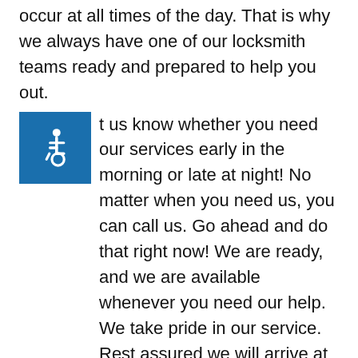occur at all times of the day. That is why we always have one of our locksmith teams ready and prepared to help you out.
[Figure (illustration): Blue accessibility icon (wheelchair user symbol) on a blue square background]
Let us know whether you need our services early in the morning or late at night! No matter when you need us, you can call us. Go ahead and do that right now! We are ready, and we are available whenever you need our help. We take pride in our service. Rest assured we will arrive at your location as soon as possible.
Our Mobile Locksmith Services
It doesn’t matter where you are located if you are in Cambridge, MA limits, we can help you out. Our locksmith store provides services to anyone that is within the city limits. We have one of the best and fastest mobile locksmith services in the whole state.